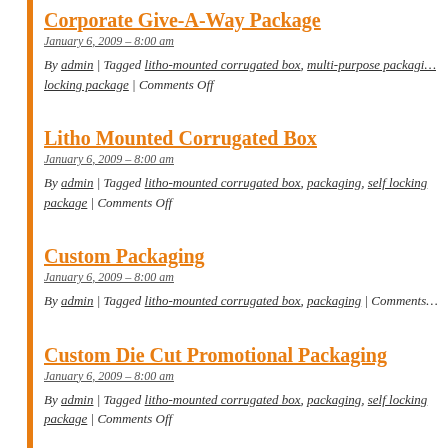Corporate Give-A-Way Package
January 6, 2009 – 8:00 am
By admin | Tagged litho-mounted corrugated box, multi-purpose packaging, locking package | Comments Off
Litho Mounted Corrugated Box
January 6, 2009 – 8:00 am
By admin | Tagged litho-mounted corrugated box, packaging, self locking package | Comments Off
Custom Packaging
January 6, 2009 – 8:00 am
By admin | Tagged litho-mounted corrugated box, packaging | Comments
Custom Die Cut Promotional Packaging
January 6, 2009 – 8:00 am
By admin | Tagged litho-mounted corrugated box, packaging, self locking package | Comments Off